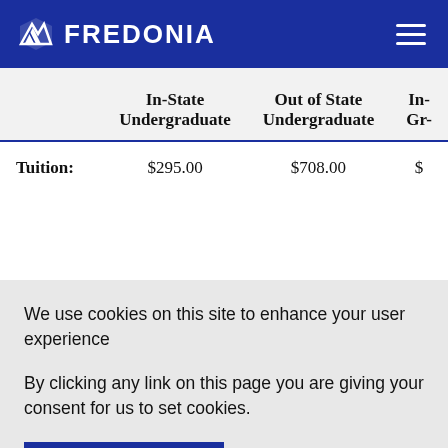FREDONIA
|  | In-State Undergraduate | Out of State Undergraduate | In- Gr- |
| --- | --- | --- | --- |
| Tuition: | $295.00 | $708.00 | $ |
We use cookies on this site to enhance your user experience
By clicking any link on this page you are giving your consent for us to set cookies.
OK, I AGREE